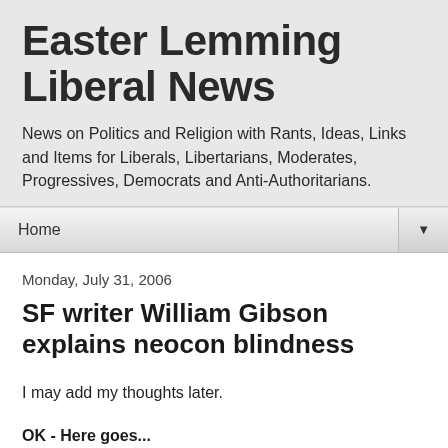Easter Lemming Liberal News
News on Politics and Religion with Rants, Ideas, Links and Items for Liberals, Libertarians, Moderates, Progressives, Democrats and Anti-Authoritarians.
Home
Monday, July 31, 2006
SF writer William Gibson explains neocon blindness
I may add my thoughts later.
OK - Here goes...